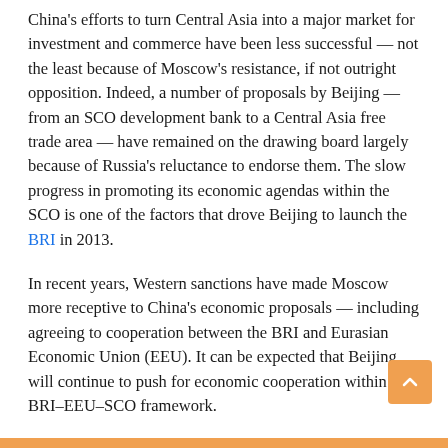China's efforts to turn Central Asia into a major market for investment and commerce have been less successful — not the least because of Moscow's resistance, if not outright opposition. Indeed, a number of proposals by Beijing — from an SCO development bank to a Central Asia free trade area — have remained on the drawing board largely because of Russia's reluctance to endorse them. The slow progress in promoting its economic agendas within the SCO is one of the factors that drove Beijing to launch the BRI in 2013.
In recent years, Western sanctions have made Moscow more receptive to China's economic proposals — including agreeing to cooperation between the BRI and Eurasian Economic Union (EEU). It can be expected that Beijing will continue to push for economic cooperation within the BRI–EEU–SCO framework.